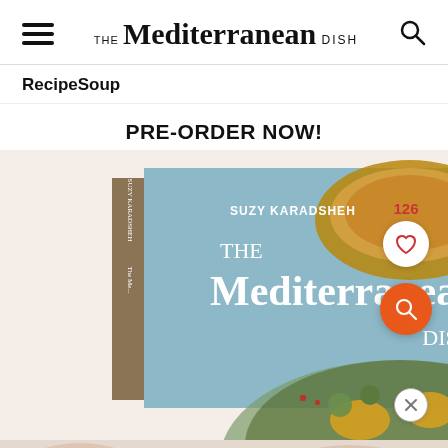THE Mediterranean DISH
Recipe    Soup
PRE-ORDER NOW!
[Figure (photo): A cookbook titled 'The Mediterranean Dish' by Suzy Karadsheh, showing food photography on the cover including bowls of spices and a dish with vegetables, alongside a partially visible food photo at the bottom.]